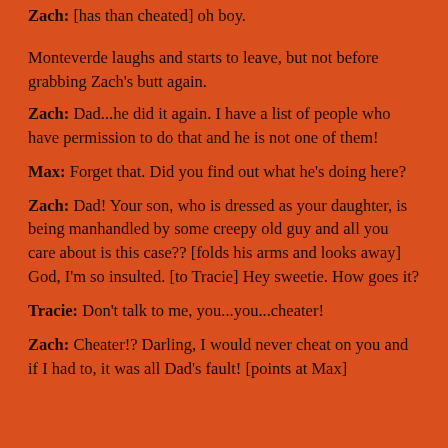Zach: [has than cheated] oh boy.
Monteverde laughs and starts to leave, but not before grabbing Zach's butt again.
Zach: Dad...he did it again. I have a list of people who have permission to do that and he is not one of them!
Max: Forget that. Did you find out what he's doing here?
Zach: Dad! Your son, who is dressed as your daughter, is being manhandled by some creepy old guy and all you care about is this case?? [folds his arms and looks away] God, I'm so insulted. [to Tracie] Hey sweetie. How goes it?
Tracie: Don't talk to me, you...you...cheater!
Zach: Cheater!? Darling, I would never cheat on you and if I had to, it was all Dad's fault! [points at Max]